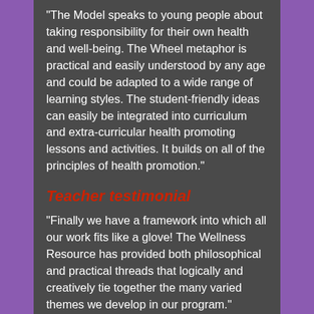"The Model speaks to young people about taking responsibility for their own health and well-being. The Wheel metaphor is practical and easily understood by any age and could be adapted to a wide range of learning styles. The student-friendly ideas can easily be integrated into curriculum and extra-curricular health promoting lessons and activities. It builds on all of the principles of health promotion."
Teacher testimonial
"Finally we have a framework into which all our work fits like a glove! The Wellness Resource has provided both philosophical and practical threads that logically and creatively tie together the many varied themes we develop in our program."